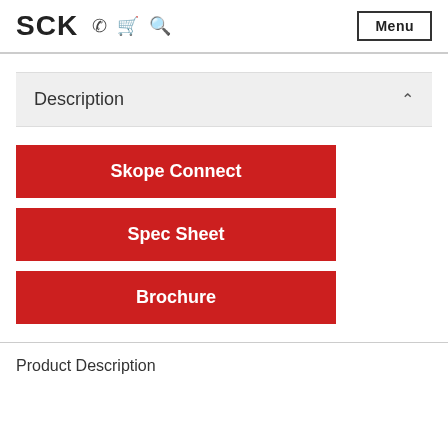SCK  Menu
Description
Skope Connect
Spec Sheet
Brochure
Product Description